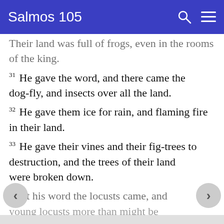Salmos 105
Their land was full of frogs, even in the rooms of the king.
31 He gave the word, and there came the dog-fly, and insects over all the land.
32 He gave them ice for rain, and flaming fire in their land.
33 He gave their vines and their fig-trees to destruction, and the trees of their land were broken down.
34 At his word the locusts came, and young locusts more than might be